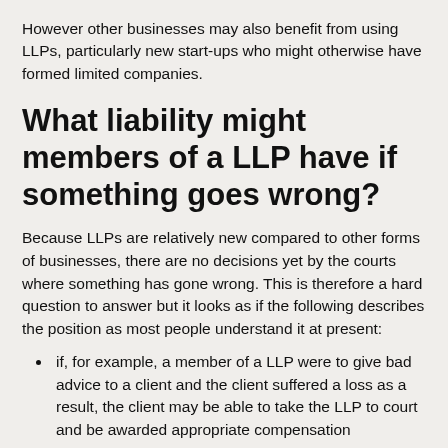However other businesses may also benefit from using LLPs, particularly new start-ups who might otherwise have formed limited companies.
What liability might members of a LLP have if something goes wrong?
Because LLPs are relatively new compared to other forms of businesses, there are no decisions yet by the courts where something has gone wrong. This is therefore a hard question to answer but it looks as if the following describes the position as most people understand it at present:
if, for example, a member of a LLP were to give bad advice to a client and the client suffered a loss as a result, the client may be able to take the LLP to court and be awarded appropriate compensation
in certain circumstances it could be possible that the member who actually gave the advice may also be required by a court to pay compensation to the client
it is however probable that any other members who